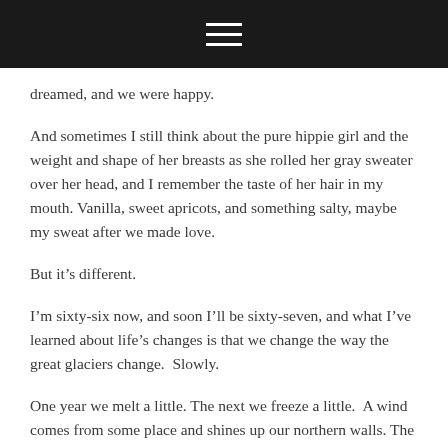dreamed, and we were happy.
And sometimes I still think about the pure hippie girl and the weight and shape of her breasts as she rolled her gray sweater over her head, and I remember the taste of her hair in my mouth. Vanilla, sweet apricots, and something salty, maybe my sweat after we made love.
But it’s different.
I’m sixty-six now, and soon I’ll be sixty-seven, and what I’ve learned about life’s changes is that we change the way the great glaciers change.  Slowly.
One year we melt a little. The next we freeze a little.  A wind comes from some place and shines up our northern walls. The next year the wind is a little stronger or weaker. We don’t change the way people in books change. Today’s hero, tomorrow’s fool.